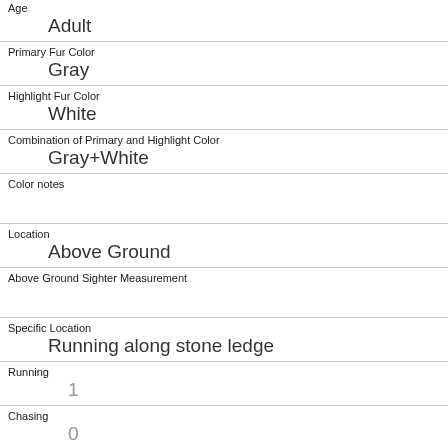Age
Adult
Primary Fur Color
Gray
Highlight Fur Color
White
Combination of Primary and Highlight Color
Gray+White
Color notes
Location
Above Ground
Above Ground Sighter Measurement
Specific Location
Running along stone ledge
Running
1
Chasing
0
Climbing